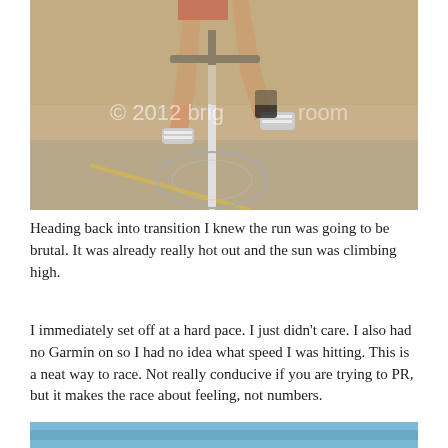[Figure (photo): Cyclist riding a road bike on a track/road surface, photographed from the front/low angle showing legs, cycling shoes, and front wheel. Watermark reads '© 2012 brighroom'.]
Heading back into transition I knew the run was going to be brutal. It was already really hot out and the sun was climbing high.
I immediately set off at a hard pace. I just didn't care. I also had no Garmin on so I had no idea what speed I was hitting. This is a neat way to race. Not really conducive if you are trying to PR, but it makes the race about feeling, not numbers.
[Figure (photo): Partial view of a second photo at the bottom of the page, showing a blue-toned image.]